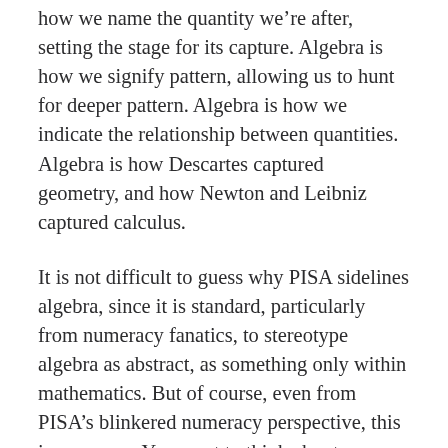how we name the quantity we're after, setting the stage for its capture. Algebra is how we signify pattern, allowing us to hunt for deeper pattern. Algebra is how we indicate the relationship between quantities. Algebra is how Descartes captured geometry, and how Newton and Leibniz captured calculus.
It is not difficult to guess why PISA sidelines algebra, since it is standard, particularly from numeracy fanatics, to stereotype algebra as abstract, as something only within mathematics. But of course, even from PISA's blinkered numeracy perspective, this is nonsense. You want to think about mathematics in the world? Then the discovery and the analysis of patterns, and the analysis of relationships, of functions is the heart of it. And what makes the heart beat is algebra.